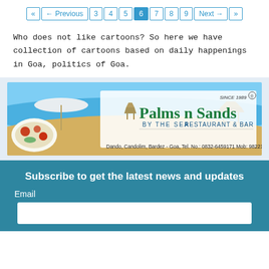« ← Previous 3 4 5 6 7 8 9 Next → »
Who does not like cartoons? So here we have collection of cartoons based on daily happenings in Goa, politics of Goa.
[Figure (photo): Palms n Sands by the Sea Restaurant & Bar advertisement banner. Beach scene with umbrella, food, and text: Since 1989, Palms n Sands, By The Sea, Restaurant & Bar. Dando, Candolim, Bardez - Goa, Tel. No.: 0832-6459171 Mob: 9822149629]
Subscribe to get the latest news and updates
Email